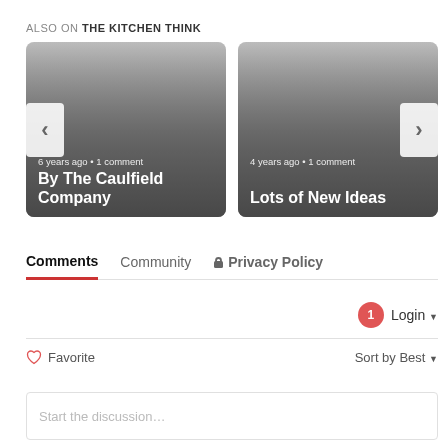ALSO ON THE KITCHEN THINK
[Figure (screenshot): Card showing article 'By The Caulfield Company' with text '6 years ago • 1 comment' on a gray gradient background with left arrow navigation button]
[Figure (screenshot): Card showing article 'Lots of New Ideas' with text '4 years ago • 1 comment' on a gray gradient background with right arrow navigation button]
Comments    Community    🔒 Privacy Policy
1  Login ▼
♡ Favorite    Sort by Best ▼
Start the discussion…